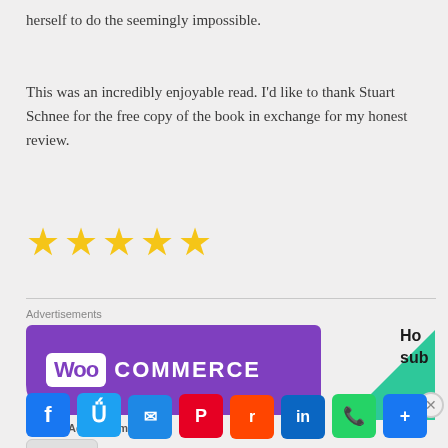herself to do the seemingly impossible.
This was an incredibly enjoyable read. I'd like to thank Stuart Schnee for the free copy of the book in exchange for my honest review.
[Figure (other): Five gold star rating icons]
[Figure (infographic): WooCommerce advertisement banner with purple background and logo]
[Figure (other): Green triangle graphic, part of advertisement]
Advertisements
Advertisements
[Figure (other): Social sharing icons: Facebook, Twitter, Email, Pinterest, Reddit, LinkedIn, WhatsApp, Share, and a blank button]